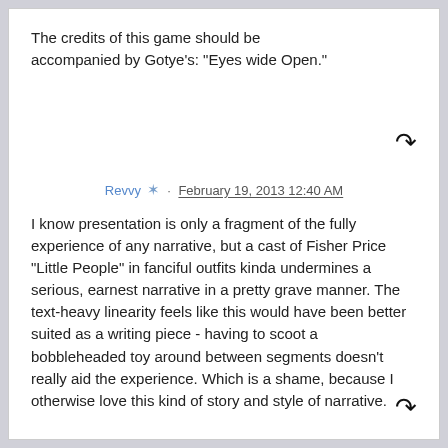The credits of this game should be accompanied by Gotye's: "Eyes wide Open."
Revvy · February 19, 2013 12:40 AM
I know presentation is only a fragment of the fully experience of any narrative, but a cast of Fisher Price "Little People" in fanciful outfits kinda undermines a serious, earnest narrative in a pretty grave manner. The text-heavy linearity feels like this would have been better suited as a writing piece - having to scoot a bobbleheaded toy around between segments doesn't really aid the experience. Which is a shame, because I otherwise love this kind of story and style of narrative.